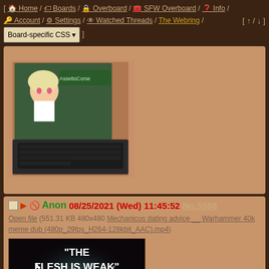[ Home / Boards / Overboard / SFW Overboard / Info / Account / Settings / Watched Threads / The Webring / Board-specific CSS ▾ ] [ ↑ / ↓ ]
[Figure (screenshot): A laptop screen showing an anime girl character in what appears to be a 3D virtual environment with AssettoCorse text visible. The laptop keyboard is visible in the foreground.]
Anon 08/25/2021 (Wed) 11:45:52 No.5558
Open file (551.31 KB 480x480 Mechanicus dating advice __ Warhammer 40k meme dub (480p_29fps_H264-128kbit_AAC).mp4)
[Figure (photo): Meme image with text 'THE FLESH IS WEAK' over a dark background showing a creature from Warhammer 40k (Tyranid or similar), with grotesque organic features.]